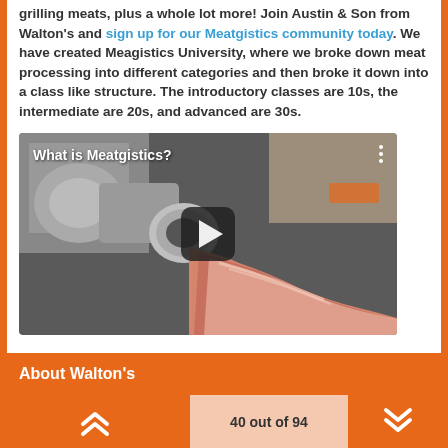grilling meats, plus a whole lot more! Join Austin & Son from Walton's and sign up for our Meatgistics community today. We have created Meagistics University, where we broke down meat processing into different categories and then broke it down into a class like structure. The introductory classes are 10s, the intermediate are 20s, and advanced are 30s.
[Figure (screenshot): Video thumbnail showing a meat grinder with ground meat coming out, titled 'What is Meatgistics?' with a play button in the center]
About Walton's
40 out of 94